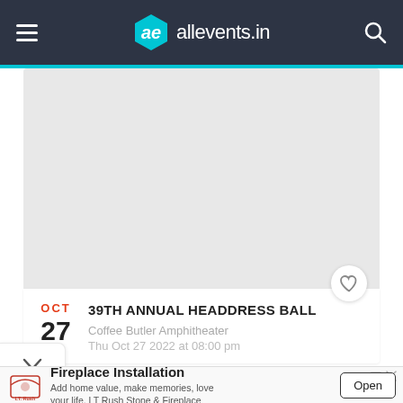allevents.in
[Figure (screenshot): Gray placeholder image for event banner]
39TH ANNUAL HEADDRESS BALL
Coffee Butler Amphitheater
Thu Oct 27 2022 at 08:00 pm
[Figure (infographic): Advertisement for Fireplace Installation by LT Rush Stone & Fireplace. Tagline: Add home value, make memories, love your life. LT Rush Stone & Fireplace. Button: Open]